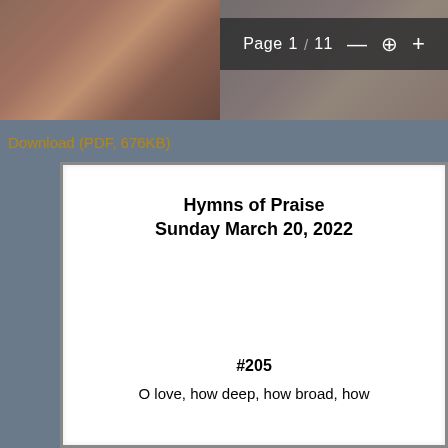[Figure (screenshot): PDF viewer browser interface showing page 1 of 11 with toolbar controls (minus, zoom, plus buttons) overlaid on a religious painting background image]
Download (PDF, 676KB)
Hymns of Praise
Sunday March 20, 2022
#205
O love, how deep, how broad, how